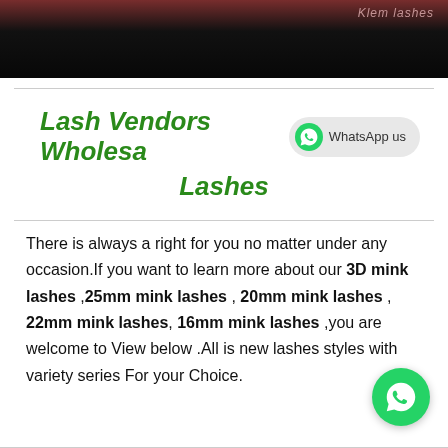[Figure (photo): Top banner image with dark background and 'Klem lashes' text watermark in pink/mauve italic font]
Lash Vendors Wholesale Lashes
There is always a right for you no matter under any occasion.If you want to learn more about our 3D mink lashes ,25mm mink lashes , 20mm mink lashes , 22mm mink lashes, 16mm mink lashes ,you are welcome to View below .All is new lashes styles with variety series For your Choice.